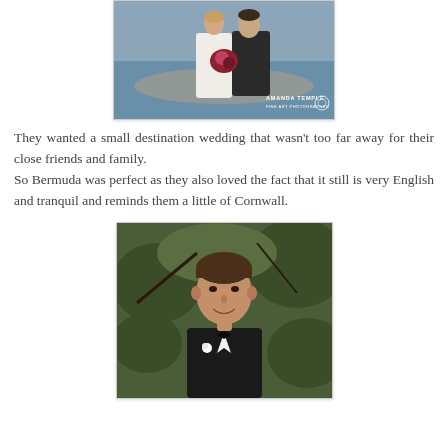[Figure (photo): Wedding couple standing outdoors near the ocean. Bride in white lace dress holding a bouquet. Groom in dark suit. Watermark reads AMANDA TEMPLE FINE ART PHOTOGRAPHER with a circular logo.]
They wanted a small destination wedding that wasn't too far away for their close friends and family.
So Bermuda was perfect as they also loved the fact that it still is very English and tranquil and reminds them a little of Cornwall.
[Figure (photo): Portrait of a man in a tuxedo with black bow tie and white boutonniere, smiling, standing outdoors with green foliage in the background.]